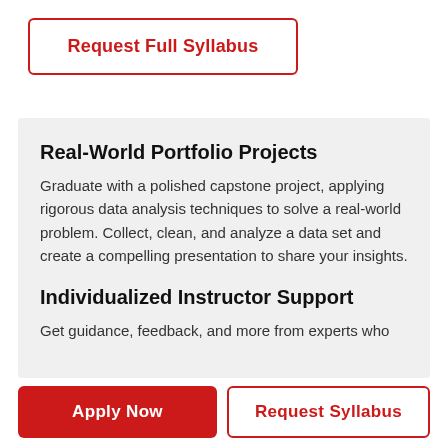Request Full Syllabus
Real-World Portfolio Projects
Graduate with a polished capstone project, applying rigorous data analysis techniques to solve a real-world problem. Collect, clean, and analyze a data set and create a compelling presentation to share your insights.
Individualized Instructor Support
Get guidance, feedback, and more from experts who
Apply Now
Request Syllabus